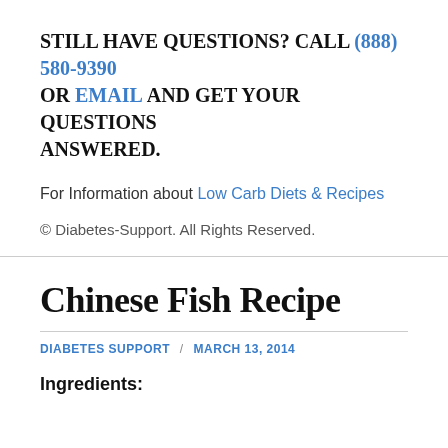STILL HAVE QUESTIONS? CALL (888) 580-9390 OR EMAIL AND GET YOUR QUESTIONS ANSWERED.
For Information about Low Carb Diets & Recipes
© Diabetes-Support. All Rights Reserved.
Chinese Fish Recipe
DIABETES SUPPORT / MARCH 13, 2014
Ingredients: